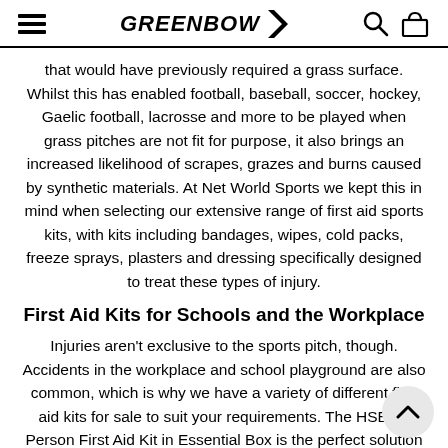GREENBOW
that would have previously required a grass surface. Whilst this has enabled football, baseball, soccer, hockey, Gaelic football, lacrosse and more to be played when grass pitches are not fit for purpose, it also brings an increased likelihood of scrapes, grazes and burns caused by synthetic materials. At Net World Sports we kept this in mind when selecting our extensive range of first aid sports kits, with kits including bandages, wipes, cold packs, freeze sprays, plasters and dressing specifically designed to treat these types of injury.
First Aid Kits for Schools and the Workplace
Injuries aren't exclusive to the sports pitch, though. Accidents in the workplace and school playground are also common, which is why we have a variety of different first aid kits for sale to suit your requirements. The HSE 10 Person First Aid Kit in Essential Box is the perfect solution for first aid at work in any office or staffroom, with the essentials for up to 10 people that are often needed result of an injury in the workplace. For minor cuts grazes caused by falls and bumps in the playground or on a